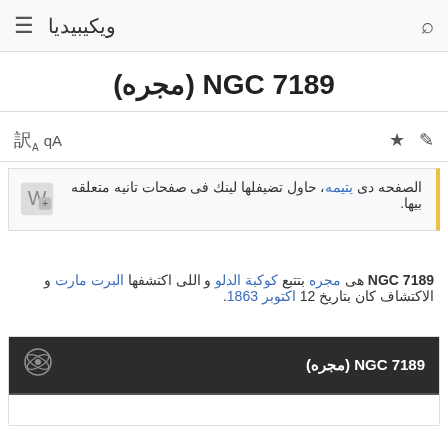ويكيبيديا
NGC 7189 (مجره)
الصفحه دى يتيمه، حاول تضيفلها لينك فى صفحات تانيه متعلقه بيها.
NGC 7189 هى مجره بتتبع كوكبة الدلو و اللى اكتشفها البرت مارت و الاكتشاف كان بتاريخ 12 اكتوبر 1863.
| NGC 7189 (مجره) |
| --- |